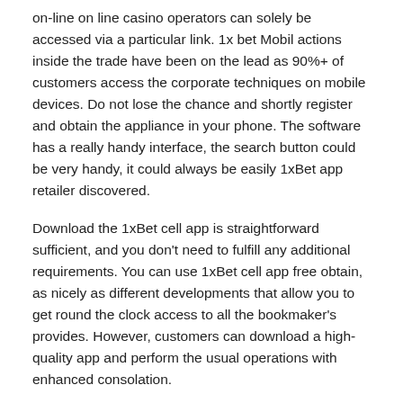on-line on line casino operators can solely be accessed via a particular link. 1x bet Mobil actions inside the trade have been on the lead as 90%+ of customers access the corporate techniques on mobile devices. Do not lose the chance and shortly register and obtain the appliance in your phone. The software has a really handy interface, the search button could be very handy, it could always be easily 1xBet app retailer discovered.
Download the 1xBet cell app is straightforward sufficient, and you don't need to fulfill any additional requirements. You can use 1xBet cell app free obtain, as nicely as different developments that allow you to get round the clock access to all the bookmaker's provides. However, customers can download a high-quality app and perform the usual operations with enhanced consolation.
The 1xbet cell version has nearly the similar as a end result of the interface of its Android app. It has easy accessibility to